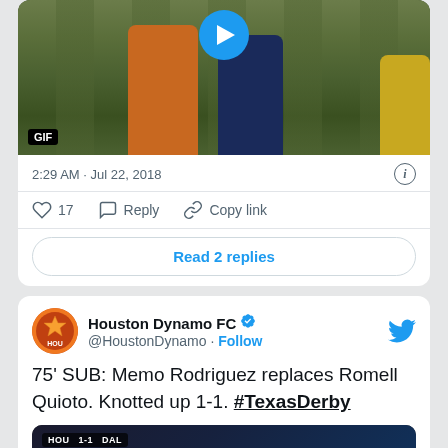[Figure (screenshot): Soccer match GIF thumbnail showing players on field with orange and blue uniforms, with a GIF label and play button overlay]
2:29 AM · Jul 22, 2018
17  Reply  Copy link
Read 2 replies
[Figure (screenshot): Houston Dynamo FC Twitter profile with verified badge and Follow button]
Houston Dynamo FC @HoustonDynamo · Follow
75' SUB: Memo Rodriguez replaces Romell Quioto. Knotted up 1-1. #TexasDerby
[Figure (screenshot): Video thumbnail showing soccer match scoreboard with HOU 1-1 DAL and Watch on Twitter button]